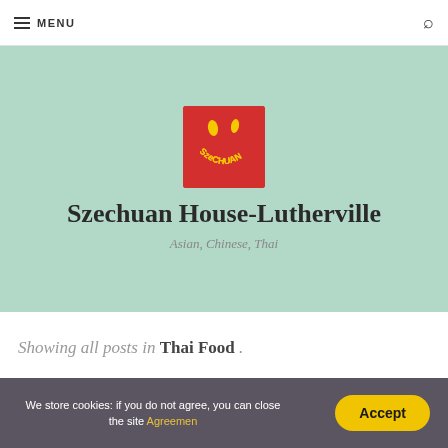MENU
[Figure (logo): Szechuan House restaurant logo: red square background with yellow smiley face made of text letters spelling SZECHUAN, with two flame-like shapes as eyes]
Szechuan House-Lutherville
Asian, Chinese, Thai
Showing all posts in Thai Food .
We store cookies: if you do not agree, you can close the site Agreemen